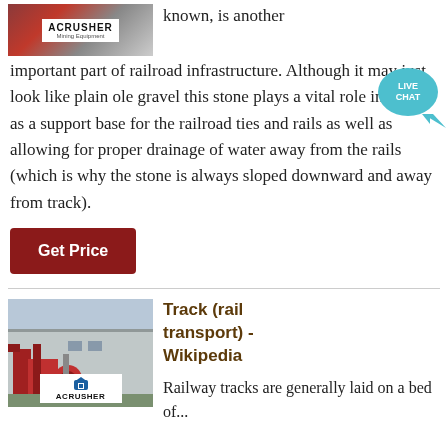[Figure (photo): Photo of red industrial mining equipment with ACRUSHER Mining Equipment logo overlay]
known, is another important part of railroad infrastructure. Although it may just look like plain ole gravel this stone plays a vital role in acting as a support base for the railroad ties and rails as well as allowing for proper drainage of water away from the rails (which is why the stone is always sloped downward and away from track).
[Figure (illustration): Live Chat bubble icon with text LIVE CHAT]
Get Price
[Figure (photo): Photo of industrial mining facility with red machinery and ACRUSHER logo]
Track (rail transport) - Wikipedia
Railway tracks are generally laid on a bed of...